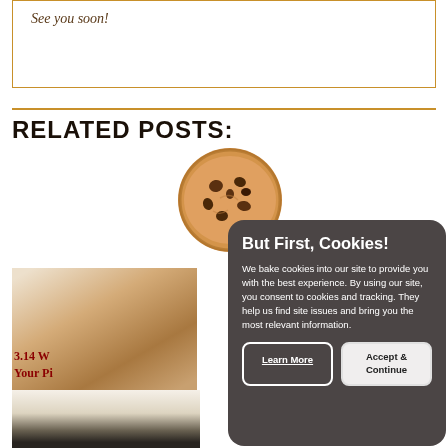See you soon!
RELATED POSTS:
[Figure (photo): Cookie image circle with chocolate chip cookie, used as cookie consent icon]
[Figure (photo): Food photo showing baked dish in white pan]
3.14 W... Your Pi...
[Figure (photo): Room interior photo with person standing]
But First, Cookies!

We bake cookies into our site to provide you with the best experience. By using our site, you consent to cookies and tracking. They help us find site issues and bring you the most relevant information.

Learn More   Accept & Continue